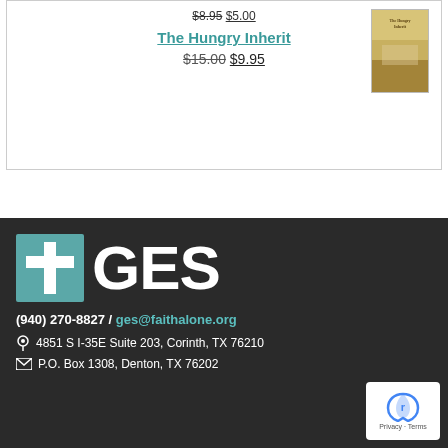$8.95 $5.00
The Hungry Inherit
$15.00 $9.95
[Figure (illustration): Book cover thumbnail for 'The Hungry Inherit']
[Figure (logo): GES logo with teal cross and white GES text on dark background]
(940) 270-8827 / ges@faithalone.org
4851 S I-35E Suite 203, Corinth, TX 76210
P.O. Box 1308, Denton, TX 76202
[Figure (other): Google reCAPTCHA badge with Privacy and Terms links]